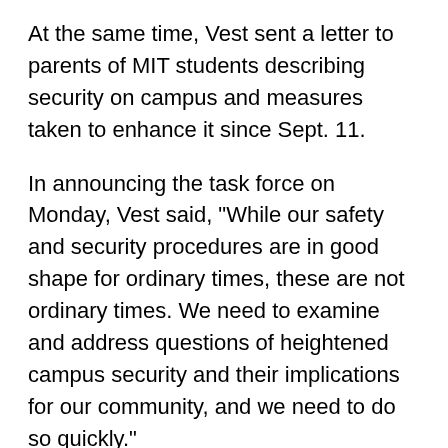At the same time, Vest sent a letter to parents of MIT students describing security on campus and measures taken to enhance it since Sept. 11.
In announcing the task force on Monday, Vest said, "While our safety and security procedures are in good shape for ordinary times, these are not ordinary times. We need to examine and address questions of heightened campus security and their implications for our community, and we need to do so quickly."
Vest asked the task force, chaired by Executive Vice President John R. Curry, to present initial recommendations by mid-November.
He said he expected the task force to address issues relating to his in a love and domicile and...